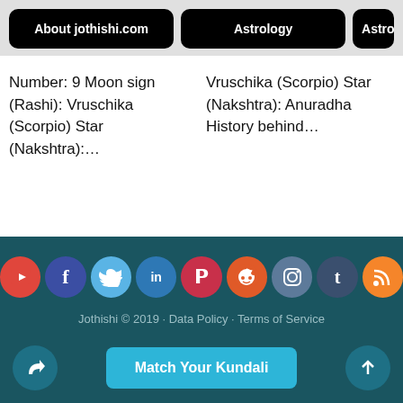About jothishi.com | Astrology | Astro
Number: 9 Moon sign (Rashi): Vruschika (Scorpio) Star (Nakshtra):…
Vruschika (Scorpio) Star (Nakshtra): Anuradha History behind…
[Figure (infographic): Social media icon row: YouTube, Facebook, Twitter, LinkedIn, Pinterest, Reddit, Instagram, Tumblr, RSS]
Jothishi © 2019 · Data Policy · Terms of Service
Match Your Kundali